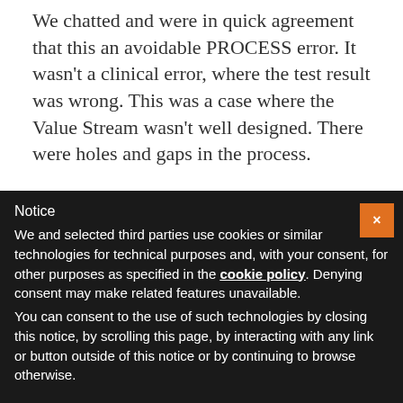We chatted and were in quick agreement that this an avoidable PROCESS error. It wasn't a clinical error, where the test result was wrong. This was a case where the Value Stream wasn't well designed. There were holes and gaps in the process.
So while every day should be Patient Safety Day
Notice
We and selected third parties use cookies or similar technologies for technical purposes and, with your consent, for other purposes as specified in the cookie policy. Denying consent may make related features unavailable.
You can consent to the use of such technologies by closing this notice, by scrolling this page, by interacting with any link or button outside of this notice or by continuing to browse otherwise.